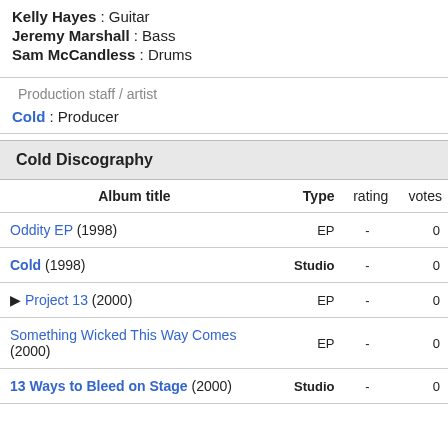Kelly Hayes : Guitar
Jeremy Marshall : Bass
Sam McCandless : Drums
Production staff / artist
Cold : Producer
| Album title | Type | rating | votes |
| --- | --- | --- | --- |
| Oddity EP (1998) | EP | - | 0 |
| Cold (1998) | Studio | - | 0 |
| ▶ Project 13 (2000) | EP | - | 0 |
| Something Wicked This Way Comes (2000) | EP | - | 0 |
| 13 Ways to Bleed on Stage (2000) | Studio | - | 0 |